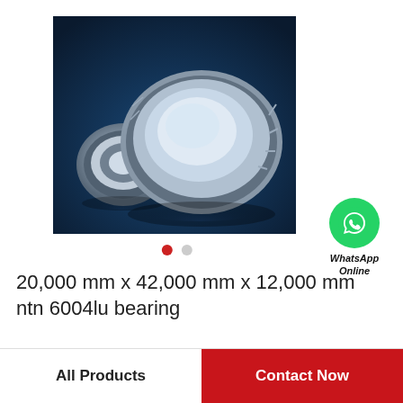[Figure (photo): Two spherical roller bearings (steel, silver/metallic) against a dark blue background. One bearing is smaller on the left, one larger on the right showing the inner race.]
[Figure (logo): WhatsApp green circle icon with white phone handset. Text below reads 'WhatsApp Online' in italic bold.]
20,000 mm x 42,000 mm x 12,000 mm ntn 6004lu bearing
All Products
Contact Now